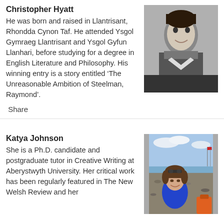Christopher Hyatt
He was born and raised in Llantrisant, Rhondda Cynon Taf. He attended Ysgol Gymraeg Llantrisant and Ysgol Gyfun Llanhari, before studying for a degree in English Literature and Philosophy.  His winning entry is a story entitled ‘The Unreasonable Ambition of Steelman, Raymond’.
[Figure (photo): Black and white portrait photo of Christopher Hyatt, a young man with dark hair, wearing a dark jacket.]
Share
Katya Johnson
She is a Ph.D. candidate and postgraduate tutor in Creative Writing at Aberystwyth University. Her critical work has been regularly featured in The New Welsh Review and her
[Figure (photo): Color outdoor photo of Katya Johnson, a woman with short brown hair and sunglasses on her head, smiling, wearing a blue top, on a pebble beach.]